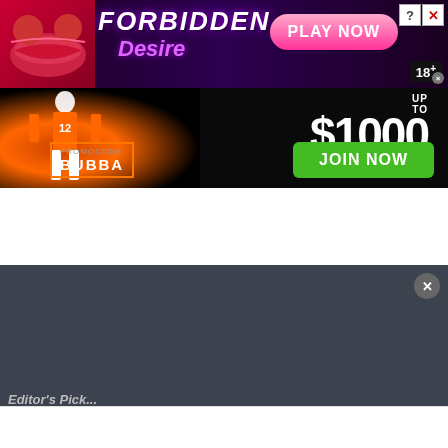[Figure (infographic): Forbidden Desire adult game advertisement banner with pink/purple neon styling, 'PLAY NOW' button, and '18+' badge]
[Figure (infographic): Sports betting advertisement - 'UP TO $1000' bonus with baseball player, 'PROMOCODE BUBBA' and green 'JOIN NOW' button]
[Figure (infographic): Dark gray section bar partially visible at bottom of page with faint 'Editor's Pick' text]
[Figure (infographic): Google display ad for Back To School Shopping Deals at Leesburg Premium Outlets with circular logo and blue diamond arrow icon]